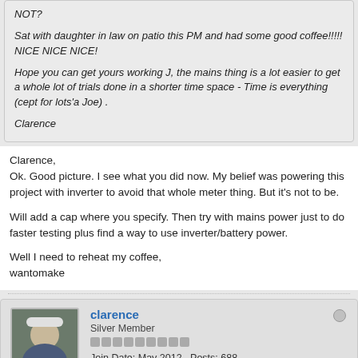NOT?
Sat with daughter in law on patio this PM and had some good coffee!!!!!
NICE NICE NICE!
Hope you can get yours working J, the mains thing is a lot easier to get a whole lot of trials done in a shorter time space - Time is everything (cept for lots'a Joe) .
Clarence
Clarence,
Ok. Good picture. I see what you did now. My belief was powering this project with inverter to avoid that whole meter thing. But it's not to be.
Will add a cap where you specify. Then try with mains power just to do faster testing plus find a way to use inverter/battery power.
Well I need to reheat my coffee,
wantomake
clarence
Silver Member
Join Date: May 2012   Posts: 688